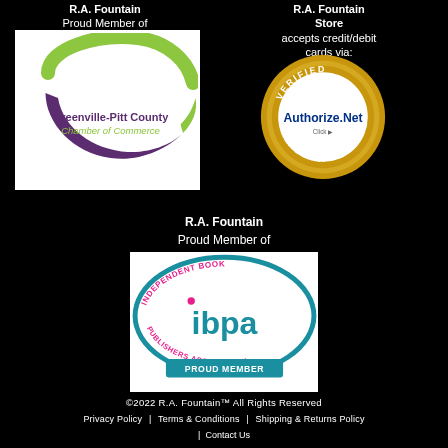R.A. Fountain
Proud Member of
[Figure (logo): Greenville-Pitt County Chamber of Commerce logo with green and purple swoosh design]
R.A. Fountain Store
accepts credit/debit cards via:
[Figure (logo): Authorize.Net Verified Merchant gold badge/seal with Click logo]
R.A. Fountain
Proud Member of
[Figure (logo): IBPA Independent Book Publishers Association Proud Member logo]
©2022 R.A. Fountain™ All Rights Reserved
Privacy Policy | Terms & Conditions | Shipping & Returns Policy
| Contact Us